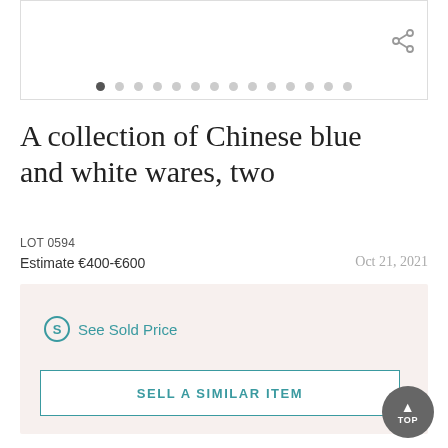[Figure (other): Image carousel with navigation dots and share icon for auction lot]
A collection of Chinese blue and white wares, two
LOT 0594
Estimate €400-€600    Oct 21, 2021
See Sold Price
SELL A SIMILAR ITEM